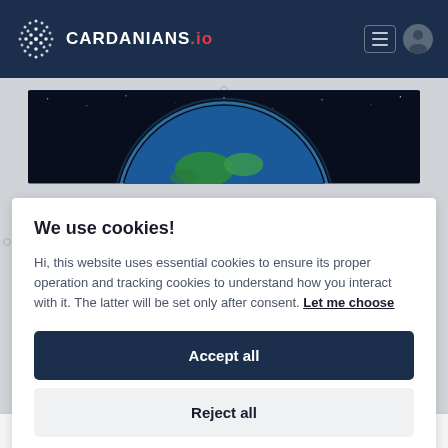CARDANIANS.io
[Figure (photo): Earth globe from space against dark starry background]
We use cookies!
Hi, this website uses essential cookies to ensure its proper operation and tracking cookies to understand how you interact with it. The latter will be set only after consent. Let me choose
Accept all
Reject all
known fact. What is important for our article is the amount